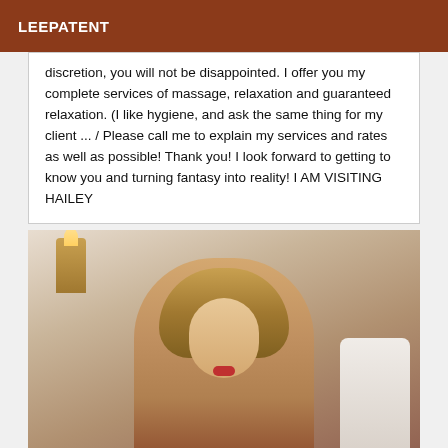LEEPATENT
discretion, you will not be disappointed. I offer you my complete services of massage, relaxation and guaranteed relaxation. (I like hygiene, and ask the same thing for my client ... / Please call me to explain my services and rates as well as possible! Thank you! I look forward to getting to know you and turning fantasy into reality! I AM VISITING HAILEY
[Figure (photo): Photo of a blonde woman posing indoors near a wall sconce and white ornate chair]